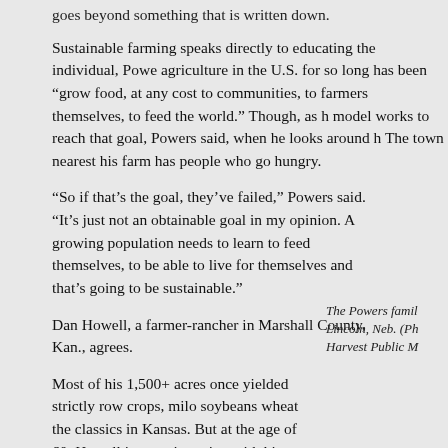goes beyond something that is written down.
Sustainable farming speaks directly to educating the individual, Powers said. Agriculture in the U.S. for so long has been “grow food, at any cost to communities, to farmers themselves, to feed the world.” Though, as he said, that model works to reach that goal, Powers said, when he looks around he sees failure. The town nearest his farm has people who go hungry.
“So if that’s the goal, they’ve failed,” Powers said. “It’s just not an obtainable goal in my opinion. A growing population needs to learn to feed themselves, to be able to live for themselves and that’s going to be sustainable.”
Dan Howell, a farmer-rancher in Marshall County, Kan., agrees.
Most of his 1,500+ acres once yielded strictly row crops, milo soybeans wheat the classics in Kansas. But at the age of 60, Howell is experimenting with his land like an idealistic young farmer.
The Powers family Lincoln, Neb. (Ph Harvest Public M
Why?
“Years ago when I wanted to farm more crop ground, I went through s